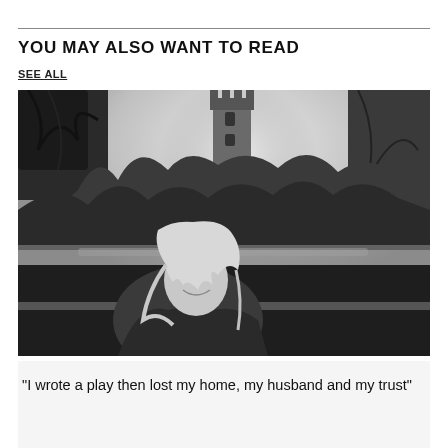YOU MAY ALSO WANT TO READ
SEE ALL
[Figure (photo): Black and white photograph of a woman with long light-colored hair wearing a puffer jacket, smiling at the camera. She is outdoors with bare winter trees and a stone tower visible in the background.]
"I wrote a play then lost my home, my husband and my trust"